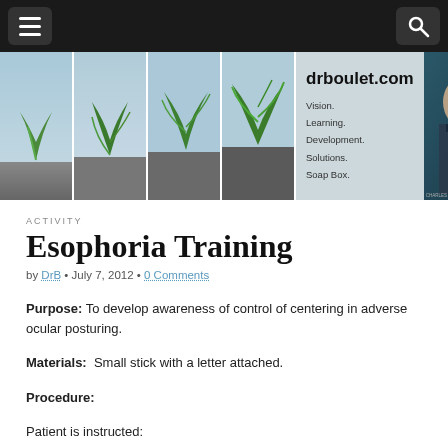drboulet.com — Vision. Learning. Development. Solutions. Soap Box.
ACTIVITY
Esophoria Training
by DrB • July 7, 2012 • 0 Comments
Purpose: To develop awareness of control of centering in adverse ocular posturing.
Materials:  Small stick with a letter attached.
Procedure:
Patient is instructed: